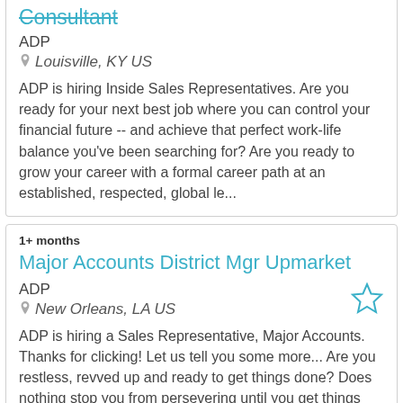Consultant
ADP
Louisville, KY US
ADP is hiring Inside Sales Representatives. Are you ready for your next best job where you can control your financial future -- and achieve that perfect work-life balance you've been searching for? Are you ready to grow your career with a formal career path at an established, respected, global le...
1+ months
Major Accounts District Mgr Upmarket
ADP
New Orleans, LA US
ADP is hiring a Sales Representative, Major Accounts.  Thanks for clicking! Let us tell you some more... Are you restless, revved up and ready to get things done? Does nothing stop you from persevering until you get things right? Is your desire to learn and grow insatiable?  Most importantly, do y...